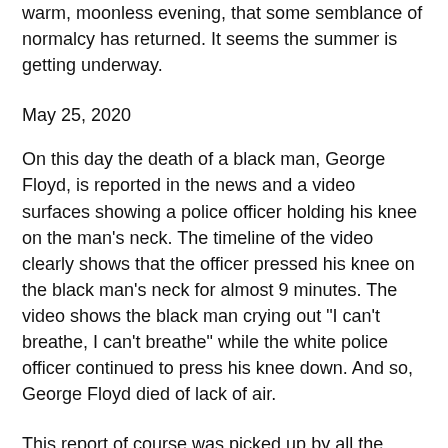warm, moonless evening, that some semblance of normalcy has returned. It seems the summer is getting underway.
May 25, 2020
On this day the death of a black man, George Floyd, is reported in the news and a video surfaces showing a police officer holding his knee on the man’s neck. The timeline of the video clearly shows that the officer pressed his knee on the black man’s neck for almost 9 minutes. The video shows the black man crying out “I can’t breathe, I can’t breathe” while the white police officer continued to press his knee down. And so, George Floyd died of lack of air.
This report of course was picked up by all the